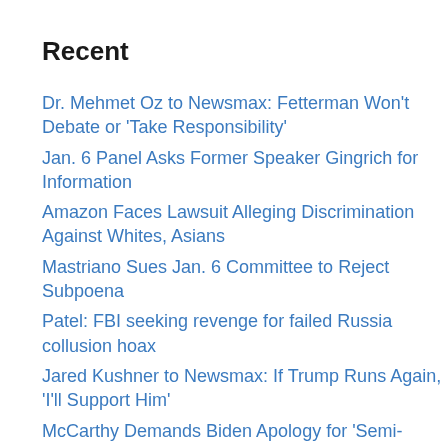Recent
Dr. Mehmet Oz to Newsmax: Fetterman Won't Debate or 'Take Responsibility'
Jan. 6 Panel Asks Former Speaker Gingrich for Information
Amazon Faces Lawsuit Alleging Discrimination Against Whites, Asians
Mastriano Sues Jan. 6 Committee to Reject Subpoena
Patel: FBI seeking revenge for failed Russia collusion hoax
Jared Kushner to Newsmax: If Trump Runs Again, 'I'll Support Him'
McCarthy Demands Biden Apology for 'Semi-